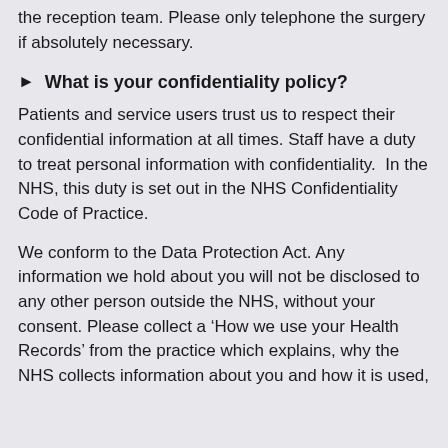the reception team. Please only telephone the surgery if absolutely necessary.
What is your confidentiality policy?
Patients and service users trust us to respect their confidential information at all times. Staff have a duty to treat personal information with confidentiality.  In the NHS, this duty is set out in the NHS Confidentiality Code of Practice.
We conform to the Data Protection Act. Any information we hold about you will not be disclosed to any other person outside the NHS, without your consent. Please collect a ‘How we use your Health Records’ from the practice which explains, why the NHS collects information about you and how it is used,